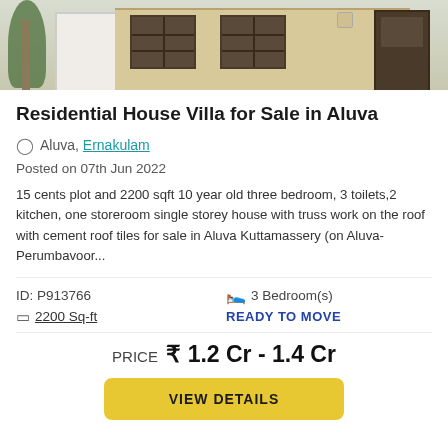[Figure (photo): Exterior photo of a residential house with white walls, barred windows, a door, and palm/tree vegetation on the left side]
Residential House Villa for Sale in Aluva
Aluva, Ernakulam
Posted on 07th Jun 2022
15 cents plot and 2200 sqft 10 year old three bedroom, 3 toilets,2 kitchen, one storeroom single storey house with truss work on the roof with cement roof tiles for sale in Aluva Kuttamassery (on Aluva- Perumbavoor...
ID: P913766	3 Bedroom(s)
2200 Sq-ft	READY TO MOVE
PRICE  ₹ 1.2 Cr - 1.4 Cr
VIEW DETAILS